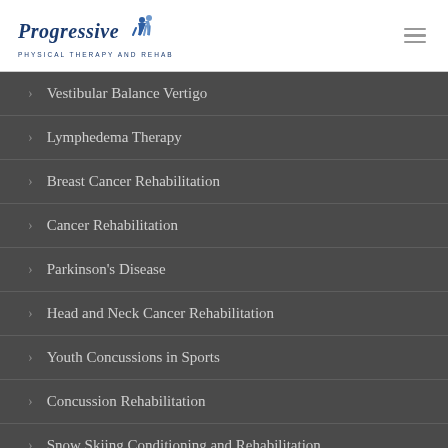Progressive Physical Therapy and Rehab
Vestibular Balance Vertigo
Lymphedema Therapy
Breast Cancer Rehabilitation
Cancer Rehabilitation
Parkinson's Disease
Head and Neck Cancer Rehabilitation
Youth Concussions in Sports
Concussion Rehabilitation
Snow Skiing Conditioning and Rehabilitation